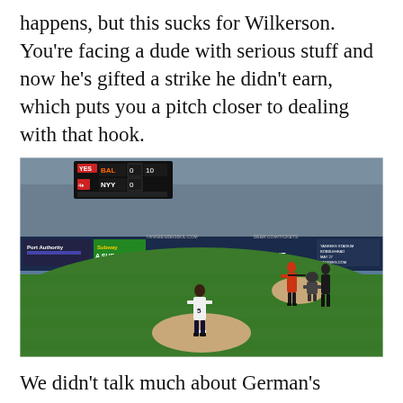happens, but this sucks for Wilkerson. You're facing a dude with serious stuff and now he's gifted a strike he didn't earn, which puts you a pitch closer to dealing with that hook.
[Figure (photo): Baseball game screenshot showing a pitcher standing on the mound at what appears to be Yankee Stadium. The scoreboard shows BAL 0, NYY 0 in the 10th inning. Outfield wall advertising includes 'A SUB ABOVE' (Subway) and 'Port Authority' signs. A batter, catcher, and umpire are visible at home plate.]
We didn't talk much about German's changeup — mostly, it's an OK offering but